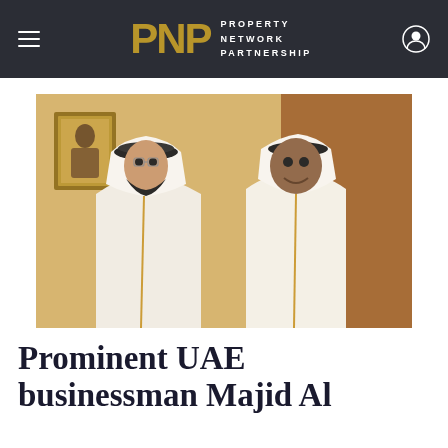PNP PROPERTY NETWORK PARTNERSHIP
[Figure (photo): Two men in traditional UAE white robes (kandura) and headdress engaged in conversation. A framed portrait is visible in the background on the left wall. The setting appears to be an official or formal meeting room.]
Prominent UAE businessman Majid Al